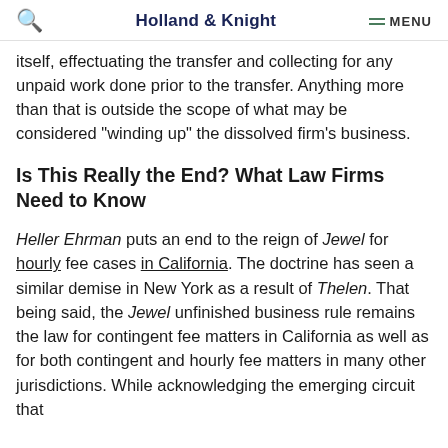Holland & Knight
itself, effectuating the transfer and collecting for any unpaid work done prior to the transfer. Anything more than that is outside the scope of what may be considered "winding up" the dissolved firm's business.
Is This Really the End? What Law Firms Need to Know
Heller Ehrman puts an end to the reign of Jewel for hourly fee cases in California. The doctrine has seen a similar demise in New York as a result of Thelen. That being said, the Jewel unfinished business rule remains the law for contingent fee matters in California as well as for both contingent and hourly fee matters in many other jurisdictions. While acknowledging emerging circuit that...